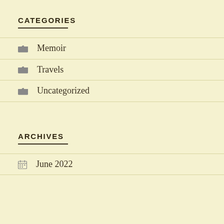CATEGORIES
Memoir
Travels
Uncategorized
ARCHIVES
June 2022